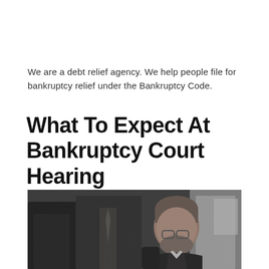We are a debt relief agency. We help people file for bankruptcy relief under the Bankruptcy Code.
What To Expect At Bankruptcy Court Hearing
[Figure (photo): Black and white photo of business people in a court or office setting; a man with glasses and beard is prominent in the foreground, with others standing behind him in suits.]